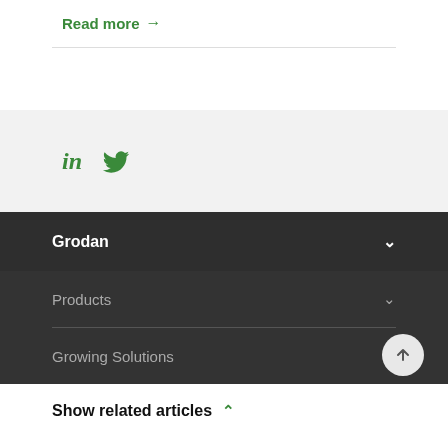Read more →
[Figure (infographic): LinkedIn and Twitter social media icons in green]
Grodan
Products
Growing Solutions
Show related articles ^